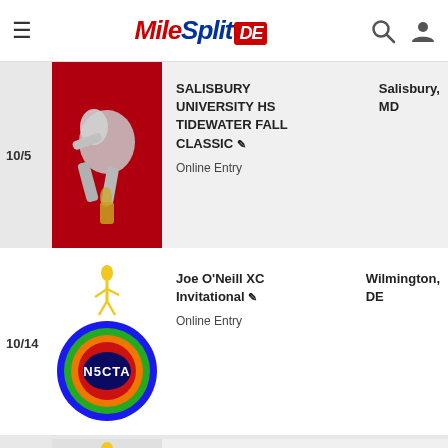MileSplit DE
[Figure (logo): MileSplit DE logo with red hamburger menu and search/user icons]
10/5
[Figure (photo): Salisbury University HS event thumbnail - dark red background with running figures]
SALISBURY UNIVERSITY HS TIDEWATER FALL CLASSIC ✏ Online Entry
Salisbury, MD
10/14
[Figure (logo): N5CTA logo - colorful oval badge with blue, green, orange, red concentric ovals on white background with golden runner figure]
Joe O'Neill XC Invitational ✏ Online Entry
Wilmington, DE
[Figure (logo): N5CTA logo partial view at bottom of page]